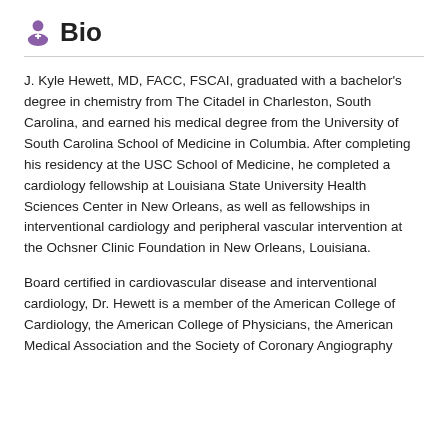Bio
J. Kyle Hewett, MD, FACC, FSCAI, graduated with a bachelor's degree in chemistry from The Citadel in Charleston, South Carolina, and earned his medical degree from the University of South Carolina School of Medicine in Columbia. After completing his residency at the USC School of Medicine, he completed a cardiology fellowship at Louisiana State University Health Sciences Center in New Orleans, as well as fellowships in interventional cardiology and peripheral vascular intervention at the Ochsner Clinic Foundation in New Orleans, Louisiana.
Board certified in cardiovascular disease and interventional cardiology, Dr. Hewett is a member of the American College of Cardiology, the American College of Physicians, the American Medical Association and the Society of Coronary Angiography